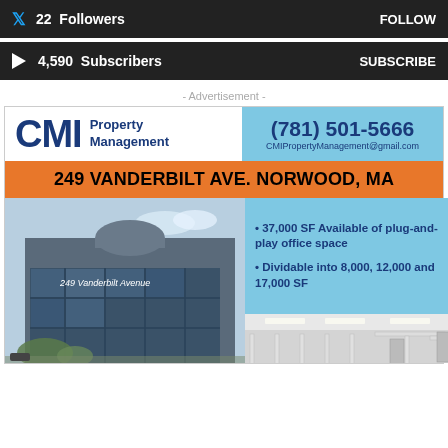22 Followers | FOLLOW
4,590 Subscribers | SUBSCRIBE
- Advertisement -
[Figure (photo): CMI Property Management advertisement showing logo, phone number (781) 501-5666, email CMIPropertyManagement@gmail.com, address 249 Vanderbilt Ave. Norwood MA, building exterior photo and interior office photo with bullet points: 37,000 SF Available of plug-and-play office space; Dividable into 8,000, 12,000 and 17,000 SF]